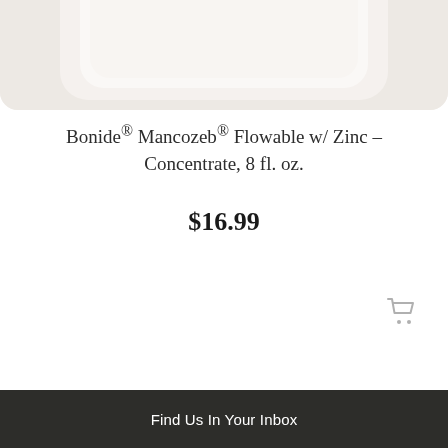[Figure (photo): Partial view of a white/cream ceramic or plastic product container with rounded corners, shown from top/side angle against a light beige background.]
Bonide® Mancozeb® Flowable w/ Zinc – Concentrate, 8 fl. oz.
$16.99
[Figure (other): Shopping cart icon in light gray]
Find Us In Your Inbox